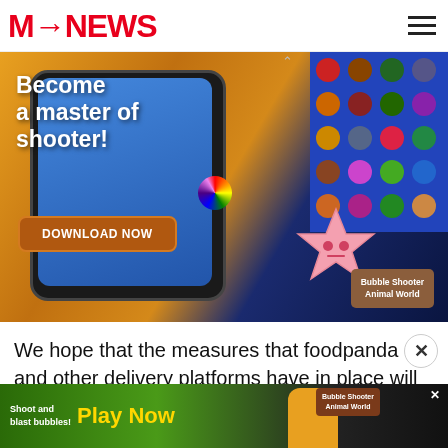MS NEWS
[Figure (illustration): Mobile game advertisement banner for 'Bubble Shooter Animal World'. Shows text 'Become a master of shooter!' with a Download Now button, pink starfish character, colorful ball, and game grid of emoji-style characters on right side.]
We hope that the measures that foodpanda and other delivery platforms have in place will be enough to
[Figure (illustration): Bottom banner ad for a bubble shooter mobile game, with text 'Shoot and blast bubbles!' and 'Play Now' in yellow, featuring cartoon animal characters. Bubble Shooter Animal World branding on right. X close button visible.]